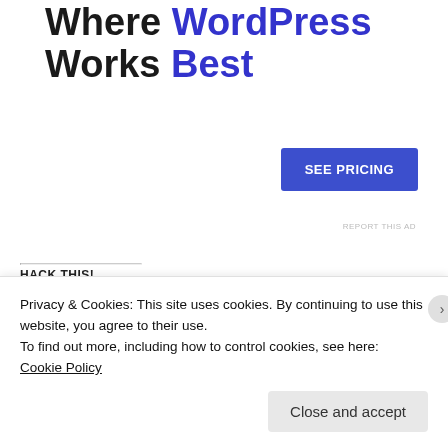Where WordPress Works Best
SEE PRICING
REPORT THIS AD
HACK THIS!
[Figure (infographic): Social share icons row: email (grey), Facebook (blue), Pinterest (red), Pocket (red), Tumblr (dark), Twitter (cyan)]
[Figure (infographic): Like button with star icon and avatar thumbnails]
Privacy & Cookies: This site uses cookies. By continuing to use this website, you agree to their use.
To find out more, including how to control cookies, see here:
Cookie Policy
Close and accept